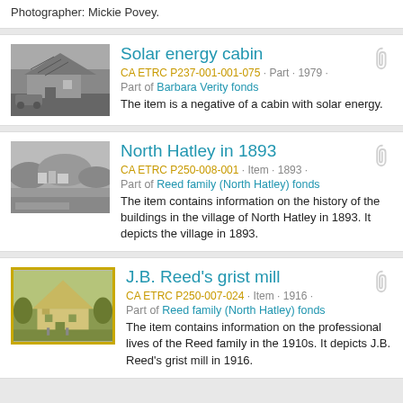Photographer: Mickie Povey.
Solar energy cabin
CA ETRC P237-001-001-075 · Part · 1979 · Part of Barbara Verity fonds
The item is a negative of a cabin with solar energy.
North Hatley in 1893
CA ETRC P250-008-001 · Item · 1893 · Part of Reed family (North Hatley) fonds
The item contains information on the history of the buildings in the village of North Hatley in 1893. It depicts the village in 1893.
J.B. Reed's grist mill
CA ETRC P250-007-024 · Item · 1916 · Part of Reed family (North Hatley) fonds
The item contains information on the professional lives of the Reed family in the 1910s. It depicts J.B. Reed's grist mill in 1916.